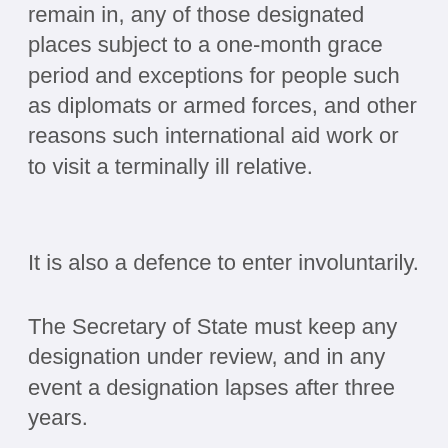remain in, any of those designated places subject to a one-month grace period and exceptions for people such as diplomats or armed forces, and other reasons such international aid work or to visit a terminally ill relative.
It is also a defence to enter involuntarily.
The Secretary of State must keep any designation under review, and in any event a designation lapses after three years.
Encouraging Terrorism and Dissemination of Terrorist Publications
This section amends the current sections 1 and 2 of the Terrorism Act